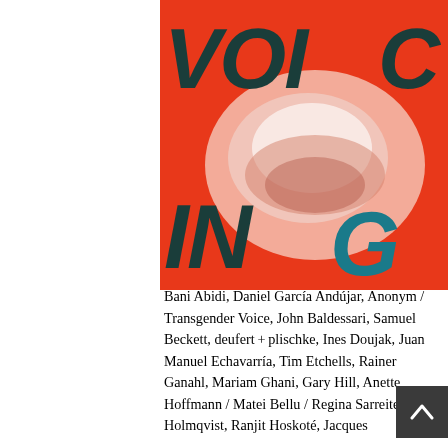[Figure (illustration): Book cover with orange/red background, large dark teal italic bold text reading 'VOI C' on top and 'IN G' on bottom, with a white/pink lips mouth print image overlaid in the center. Letters span across two lines: VOI and C on top, IN and G on bottom.]
Bani Abidi, Daniel García Andújar, Anonym / Transgender Voice, John Baldessari, Samuel Beckett, deufert+plischke, Ines Doujak, Juan Manuel Echavarría, Tim Etchells, Rainer Ganahl, Mariam Ghani, Gary Hill, Anette Hoffmann / Matei Bellu / Regina Sarreiter, Karl Holmqvist, Ranjit Hoskoté, Jacques